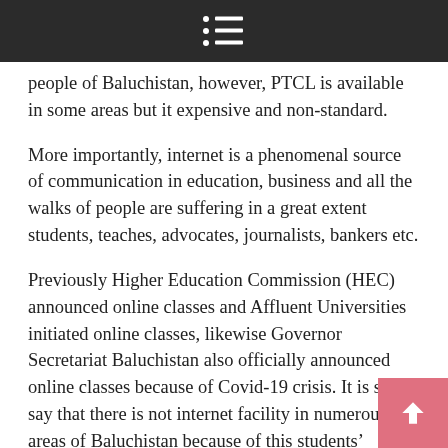≡ (menu icon)
people of Baluchistan, however, PTCL is available in some areas but it expensive and non-standard.
More importantly, internet is a phenomenal source of communication in education, business and all the walks of people are suffering in a great extent students, teaches, advocates, journalists, bankers etc.
Previously Higher Education Commission (HEC) announced online classes and Affluent Universities initiated online classes, likewise Governor Secretariat Baluchistan also officially announced online classes because of Covid-19 crisis. It is sad to say that there is not internet facility in numerous areas of Baluchistan because of this students' precious time is being wasted. Many of us are frustrated because we are totally unaware of what is going on and what will happen to our degrees in future. Internet could be a